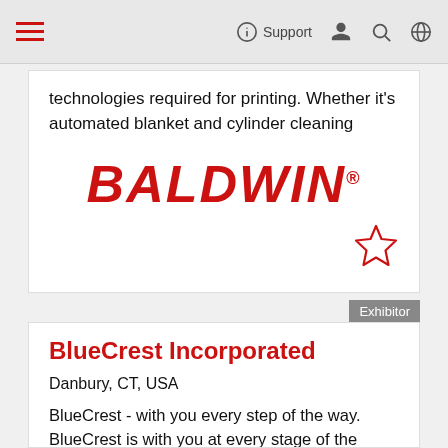navigation bar with hamburger menu, Support link, user icon, search icon, globe icon
technologies required for printing. Whether it's automated blanket and cylinder cleaning
[Figure (logo): BALDWIN logo in bold red italic text with registered trademark symbol]
Exhibitor
BlueCrest Incorporated
Danbury, CT, USA
BlueCrest - with you every step of the way. BlueCrest is with you at every stage of the document lifecycle. Our industry pedigree and expertise translate into technology and solutions that drive